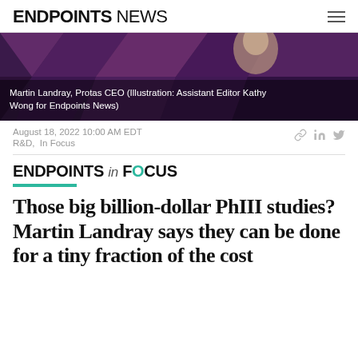ENDPOINTS NEWS
[Figure (illustration): Illustrated portrait of Martin Landray against a dark geometric abstract background with purple and mauve tones.]
Martin Landray, Protas CEO (Illustration: Assistant Editor Kathy Wong for Endpoints News)
August 18, 2022 10:00 AM EDT
R&D,  In Focus
ENDPOINTS in FOCUS
Those big billion-dollar PhIII studies? Martin Landray says they can be done for a tiny fraction of the cost